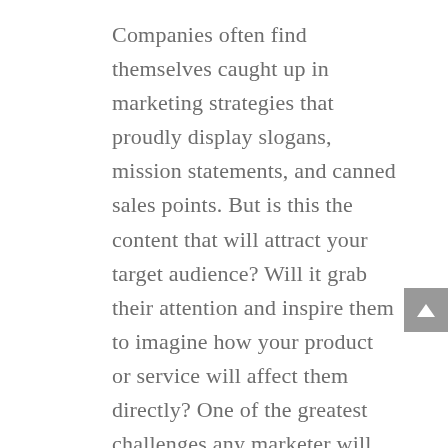Companies often find themselves caught up in marketing strategies that proudly display slogans, mission statements, and canned sales points. But is this the content that will attract your target audience? Will it grab their attention and inspire them to imagine how your product or service will affect them directly? One of the greatest challenges any marketer will face is to convince clients that marketing is about listening. Listening to the questions your customers ask, hearing out their goals and struggles, and then providing content that offers genuine value while answering their needs will resonate better than any tagline or spec ever will. Inviting your customers to participate in a conversation will